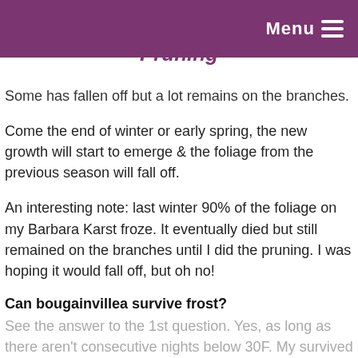Menu
Pruning
Some has fallen off but a lot remains on the branches.
Come the end of winter or early spring, the new growth will start to emerge & the foliage from the previous season will fall off.
An interesting note: last winter 90% of the foliage on my Barbara Karst froze. It eventually died but still remained on the branches until I did the pruning. I was hoping it would fall off, but oh no!
Can bougainvillea survive frost?
See the answer to the 1st question. Yes, as long as there aren't consecutive nights below 30F. My survived a light freeze